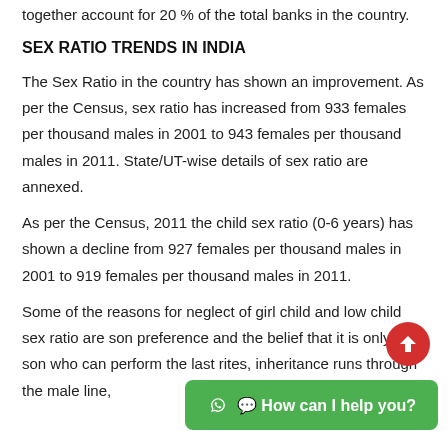together account for 20 % of the total banks in the country.
SEX RATIO TRENDS IN INDIA
The Sex Ratio in the country has shown an improvement. As per the Census, sex ratio has increased from 933 females per thousand males in 2001 to 943 females per thousand males in 2011. State/UT-wise details of sex ratio are annexed.
As per the Census, 2011 the child sex ratio (0-6 years) has shown a decline from 927 females per thousand males in 2001 to 919 females per thousand males in 2011.
Some of the reasons for neglect of girl child and low child sex ratio are son preference and the belief that it is only the son who can perform the last rites, inheritance runs through the male line,